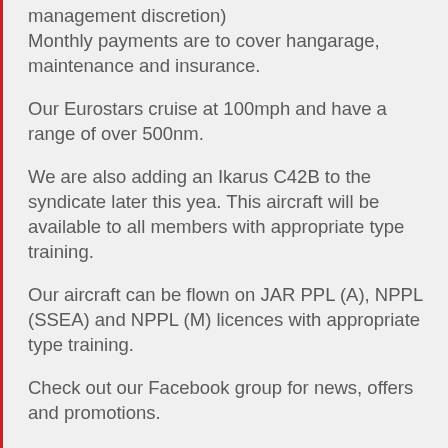management discretion)
Monthly payments are to cover hangarage, maintenance and insurance.
Our Eurostars cruise at 100mph and have a range of over 500nm.
We are also adding an Ikarus C42B to the syndicate later this yea. This aircraft will be available to all members with appropriate type training.
Our aircraft can be flown on JAR PPL (A), NPPL (SSEA) and NPPL (M) licences with appropriate type training.
Check out our Facebook group for news, offers and promotions.